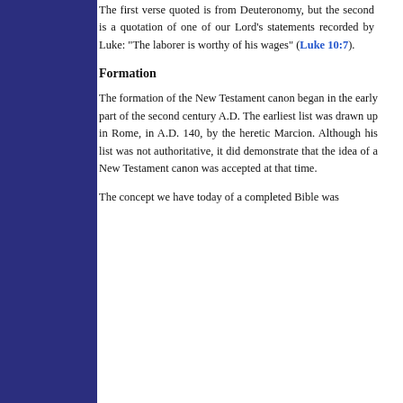The first verse quoted is from Deuteronomy, but the second is a quotation of one of our Lord's statements recorded by Luke: "The laborer is worthy of his wages" (Luke 10:7).
Formation
The formation of the New Testament canon began in the early part of the second century A.D. The earliest list was drawn up in Rome, in A.D. 140, by the heretic Marcion. Although his list was not authoritative, it did demonstrate that the idea of a New Testament canon was accepted at that time.
The concept we have today of a completed Bible was...